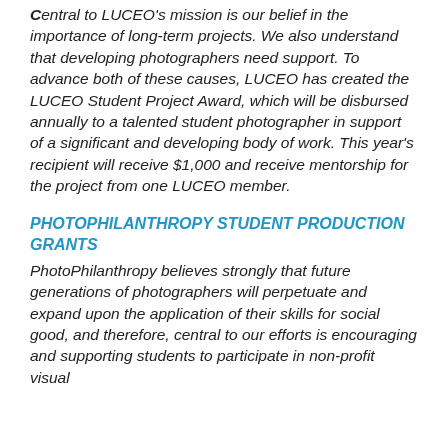Central to LUCEO's mission is our belief in the importance of long-term projects. We also understand that developing photographers need support. To advance both of these causes, LUCEO has created the LUCEO Student Project Award, which will be disbursed annually to a talented student photographer in support of a significant and developing body of work. This year's recipient will receive $1,000 and receive mentorship for the project from one LUCEO member.
PHOTOPHILANTHROPY STUDENT PRODUCTION GRANTS
PhotoPhilanthropy believes strongly that future generations of photographers will perpetuate and expand upon the application of their skills for social good, and therefore, central to our efforts is encouraging and supporting students to participate in non-profit visual